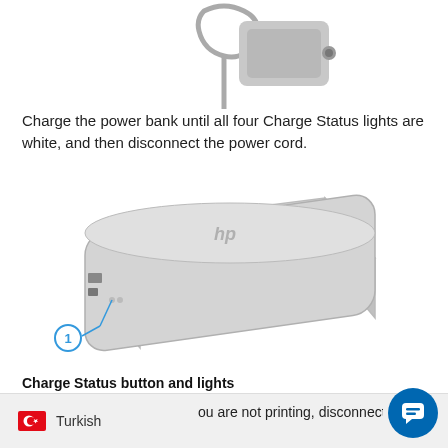[Figure (illustration): Top portion of a power adapter/charger with cable, shown from above against white background]
Charge the power bank until all four Charge Status lights are white, and then disconnect the power cord.
[Figure (illustration): HP power bank device shown in 3/4 perspective view with a callout line pointing to the Charge Status button and lights area, labeled with number 1 in a blue circle]
Charge Status button and lights
Unwrap the power bank cord, and then connect it to the printer.
...ou are not printing, disconnect the pow cord to help extend battery life.